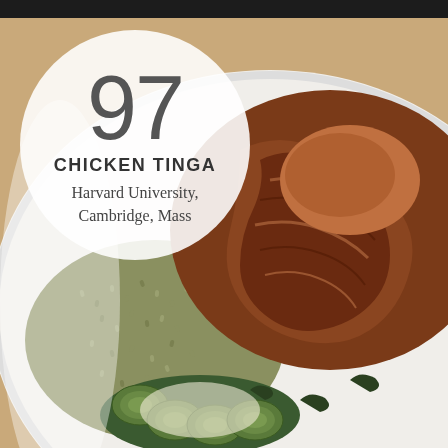[Figure (photo): Close-up photograph of a white plate with chicken tinga (shredded seasoned chicken), green herb rice, and sliced zucchini with cream sauce, shot from above on a dark wooden table surface.]
97
CHICKEN TINGA
Harvard University, Cambridge, Mass